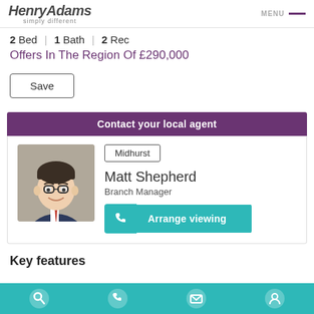HenryAdams simply different | MENU
2 Bed | 1 Bath | 2 Rec
Offers In The Region Of £290,000
Save
Contact your local agent
[Figure (photo): Portrait photo of Matt Shepherd, Branch Manager]
Midhurst
Matt Shepherd
Branch Manager
Arrange viewing
Key features
[Figure (infographic): Teal footer bar with four circular icons: search, phone, message, person]